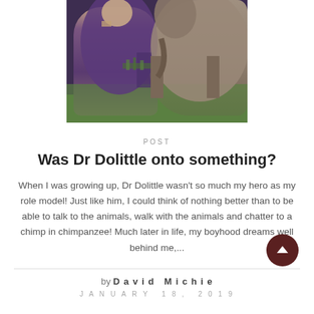[Figure (photo): A man in a purple shirt feeding or offering leaves to an elephant outdoors on green grass]
POST
Was Dr Dolittle onto something?
When I was growing up, Dr Dolittle wasn't so much my hero as my role model!  Just like him, I could think of nothing better than to be able to talk to the animals, walk with the animals and chatter to a chimp in chimpanzee! Much later in life, my boyhood dreams well behind me,...
by David Michie
JANUARY 18, 2019